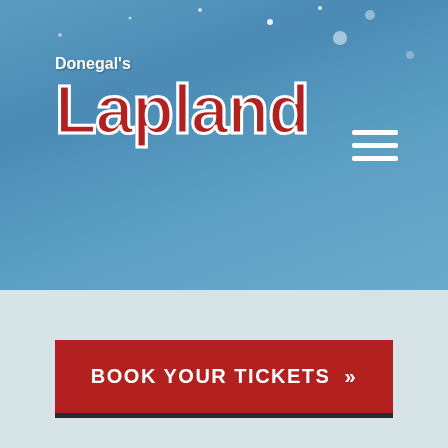[Figure (screenshot): Hero banner with blue sky gradient background and scattered white snow/circle dots]
Donegal's Lapland
[Figure (other): Hamburger menu icon with three white horizontal lines]
BOOK YOUR TICKETS »